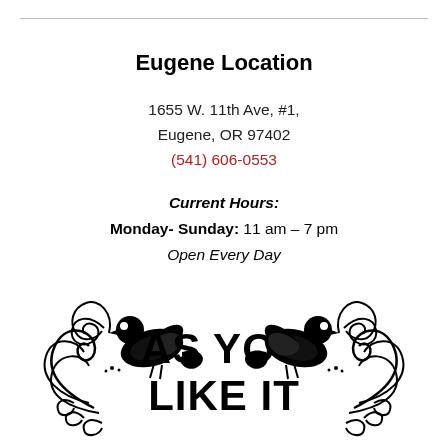Eugene Location
1655 W. 11th Ave, #1,
Eugene, OR 97402
(541) 606-0553
Current Hours:
Monday- Sunday: 11 am – 7 pm
Open Every Day
[Figure (logo): As You Like It store logo with ornamental bird and scroll flourish design in black]